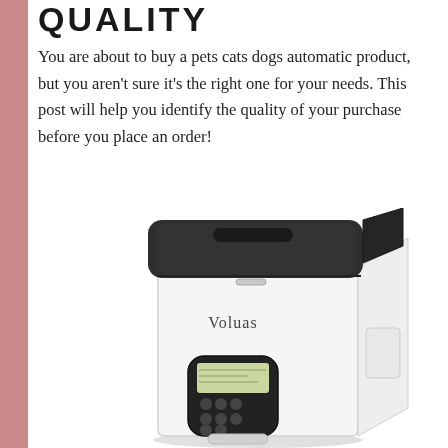QUALITY
You are about to buy a pets cats dogs automatic product, but you aren't sure it's the right one for your needs. This post will help you identify the quality of your purchase before you place an order!
[Figure (photo): White automatic pet feeder with black rounded-square lid and digital control panel with buttons, branded 'Voluas']